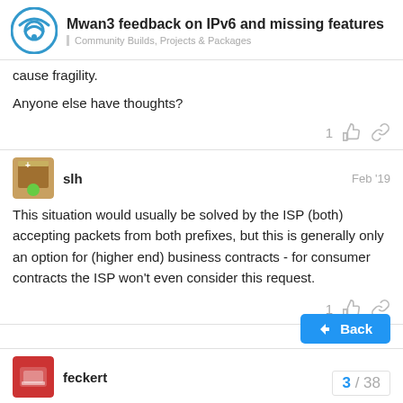Mwan3 feedback on IPv6 and missing features — Community Builds, Projects & Packages
cause fragility.
Anyone else have thoughts?
slh — Feb '19
This situation would usually be solved by the ISP (both) accepting packets from both prefixes, but this is generally only an option for (higher end) business contracts - for consumer contracts the ISP won't even consider this request.
feckert
3 / 38